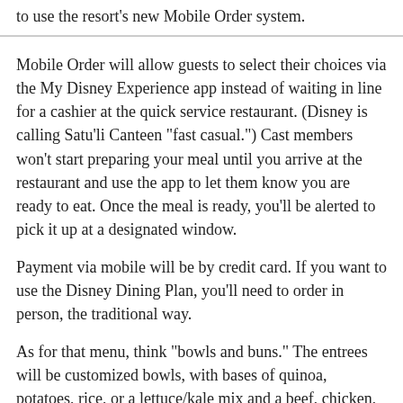to use the resort's new Mobile Order system.
Mobile Order will allow guests to select their choices via the My Disney Experience app instead of waiting in line for a cashier at the quick service restaurant. (Disney is calling Satu'li Canteen "fast casual.") Cast members won't start preparing your meal until you arrive at the restaurant and use the app to let them know you are ready to eat. Once the meal is ready, you'll be alerted to pick it up at a designated window.
Payment via mobile will be by credit card. If you want to use the Disney Dining Plan, you'll need to order in person, the traditional way.
As for that menu, think "bowls and buns." The entrees will be customized bowls, with bases of quinoa, potatoes, rice, or a lettuce/kale mix and a beef, chicken, fish, or tofu topping. (Yes, Satu'li Canteen sounds a bit like an extraterrestrial Chipotle.)